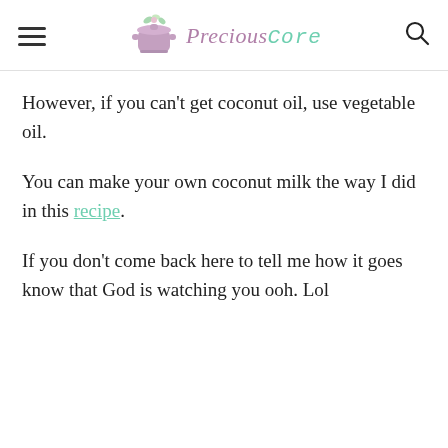Precious Core
However, if you can't get coconut oil, use vegetable oil.
You can make your own coconut milk the way I did in this recipe.
If you don't come back here to tell me how it goes know that God is watching you ooh. Lol